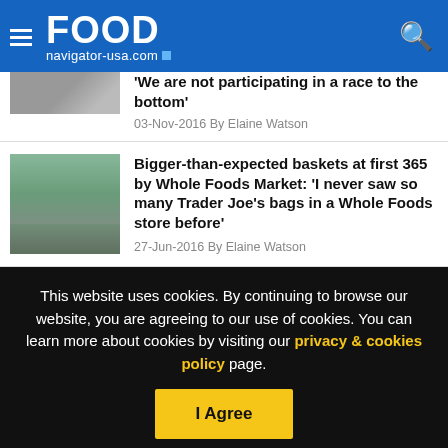FOOD navigator-usa.com
'We are not participating in a race to the bottom'
03-Nov-2016 By Elaine Watson
Bigger-than-expected baskets at first 365 by Whole Foods Market: 'I never saw so many Trader Joe’s bags in a Whole Foods store before'
27-Jun-2016 By Elaine Watson
This website uses cookies. By continuing to browse our website, you are agreeing to our use of cookies. You can learn more about cookies by visiting our privacy & cookies policy page.